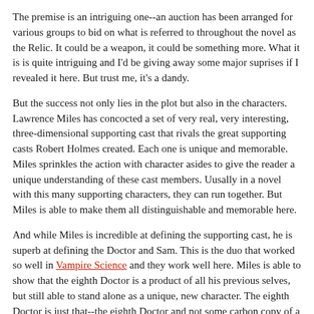The premise is an intriguing one--an auction has been arranged for various groups to bid on what is referred to throughout the novel as the Relic. It could be a weapon, it could be something more. What it is is quite intriguing and I'd be giving away some major suprises if I revealed it here. But trust me, it's a dandy.
But the success not only lies in the plot but also in the characters. Lawrence Miles has concocted a set of very real, very interesting, three-dimensional supporting cast that rivals the great supporting casts Robert Holmes created. Each one is unique and memorable. Miles sprinkles the action with character asides to give the reader a unique understanding of these cast members. Uusally in a novel with this many supporting characters, they can run together. But Miles is able to make them all distinguishable and memorable here.
And while Miles is incredible at defining the supporting cast, he is superb at defining the Doctor and Sam. This is the duo that worked so well in Vampire Science and they work well here. Miles is able to show that the eighth Doctor is a product of all his previous selves, but still able to stand alone as a unique, new character. The eighth Doctor is just that--the eighth Doctor and not some carbon copy of a previous Doctor inserted into the novel. And Sam gets some of her best development in several novels. A great portion of the book talks about the idea of what the companion means to the Doctor and Sam fits perfectly into this mold.